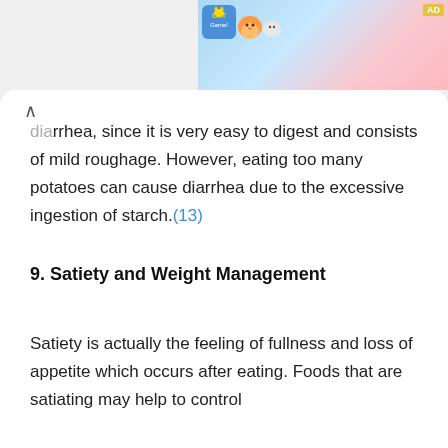[Figure (screenshot): Advertisement banner for a cat game app, showing cartoon cats and colorful game graphics with an 'AD' label.]
diarrhea, since it is very easy to digest and consists of mild roughage. However, eating too many potatoes can cause diarrhea due to the excessive ingestion of starch.(13)
9. Satiety and Weight Management
Satiety is actually the feeling of fullness and loss of appetite which occurs after eating. Foods that are satiating may help to control